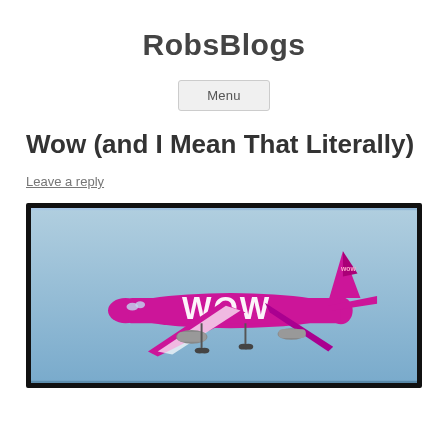RobsBlogs
Menu
Wow (and I Mean That Literally)
Leave a reply
[Figure (photo): A magenta/pink WOW Air Airbus A330 aircraft in flight against a blue sky, with white WOW livery lettering on the fuselage.]